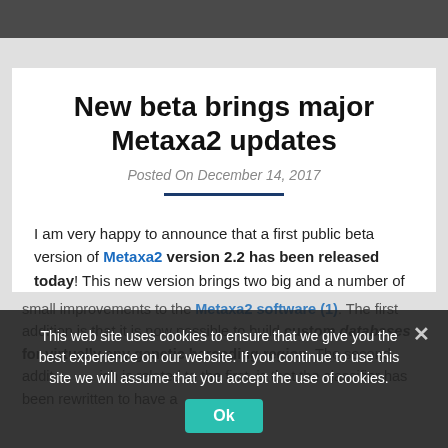Browser chrome bar
New beta brings major Metaxa2 updates
Posted On December 14, 2017
I am very happy to announce that a first public beta version of Metaxa2 version 2.2 has been released today! This new version brings two big and a number of small improvements to the Metaxa2 software (1). The first addition is that it is now possible to build custom databases for virtually any genetic barcoding region. The second addition, which is related to the first, is that the classifier has been rewritten to have a
This web site uses cookies to ensure that we give you the best experience on our website. If you continue to use this site we will assume that you accept the use of cookies.